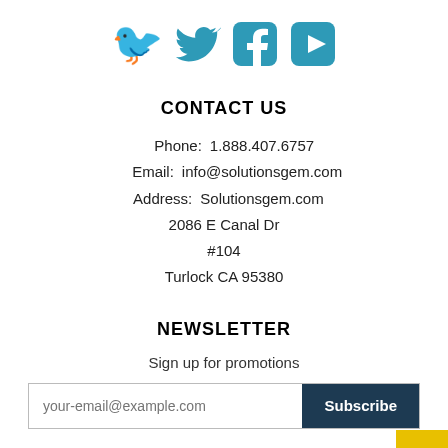[Figure (illustration): Three social media icons: Twitter bird (teal), Facebook f (teal rounded square), YouTube play button (teal rounded square)]
CONTACT US
Phone:    1.888.407.6757
Email:    info@solutionsgem.com
Address:  Solutionsgem.com
          2086 E Canal Dr
          #104
          Turlock CA 95380
NEWSLETTER
Sign up for promotions
your-email@example.com  [Subscribe]